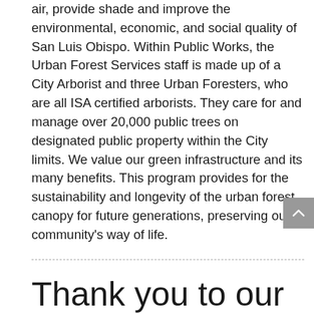air, provide shade and improve the environmental, economic, and social quality of San Luis Obispo. Within Public Works, the Urban Forest Services staff is made up of a City Arborist and three Urban Foresters, who are all ISA certified arborists. They care for and manage over 20,000 public trees on designated public property within the City limits. We value our green infrastructure and its many benefits. This program provides for the sustainability and longevity of the urban forest canopy for future generations, preserving our community's way of life.
Thank you to our